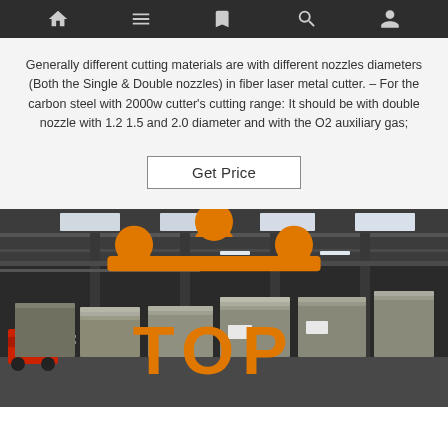Navigation bar with home, menu, bookmark, search, and user icons
Generally different cutting materials are with different nozzles diameters (Both the Single & Double nozzles) in fiber laser metal cutter. – For the carbon steel with 2000w cutter's cutting range: It should be with double nozzle with 1.2 1.5 and 2.0 diameter and with the O2 auxiliary gas;
Get Price
[Figure (photo): Interior of a large industrial warehouse with metal sheet stacks stored in rows, high ceiling with skylights, a red forklift on the left side, and a TOP brand logo watermark in the bottom right corner.]